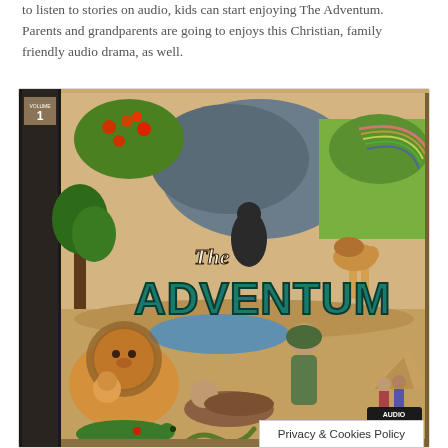to listen to stories on audio, kids can start enjoying The Adventum. Parents and grandparents are going to enjoys this Christian, family friendly audio drama, as well.
[Figure (photo): Product box art for 'The Adventum' Volume 1 audio drama. The box shows illustrated biblical and adventure scenes including a lion, people in ancient clothing, trees, animals, and landscapes. 'THE ADVENTUM' is written in large teal letters on the front. An 'AUDIO' logo appears in the bottom right corner. The spine reads 'ADVENTUM' vertically.]
Privacy & Cookies Policy